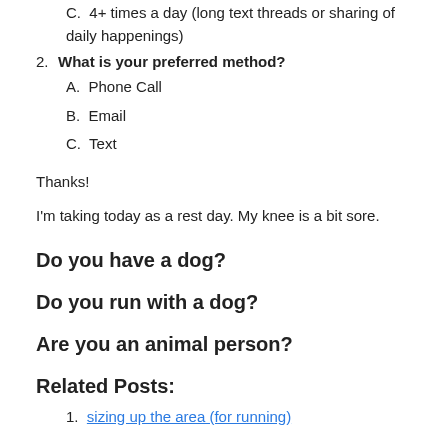C.  4+ times a day (long text threads or sharing of daily happenings)
2. What is your preferred method?
A. Phone Call
B. Email
C. Text
Thanks!
I'm taking today as a rest day. My knee is a bit sore.
Do you have a dog?
Do you run with a dog?
Are you an animal person?
Related Posts:
1. sizing up the area (for running)